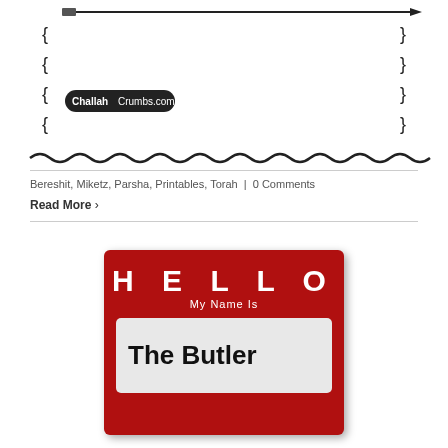[Figure (illustration): Top portion of a decorative printable with wavy border, question mark decorations, and ChallahCrumbs.com logo text visible at bottom of image area]
Bereshit, Miketz, Parsha, Printables, Torah  |  0 Comments
Read More >
[Figure (photo): A red HELLO My Name Is name tag sticker with 'The Butler' written in bold black text on the white name area]